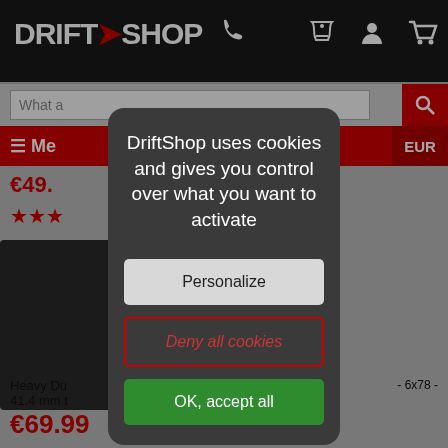[Figure (screenshot): DriftShop website background with navigation bar, logo, search bar, menu bar, product listing area with prices €69.99 and €59.99]
DriftShop uses cookies and gives you control over what you want to activate
Personalize
Deny all cookies
OK, accept all